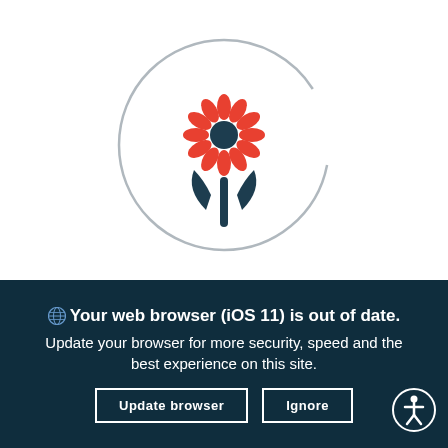[Figure (logo): Flower/tulip logo icon with red petals arranged in a sunflower pattern and dark teal stem/leaves, centered inside a light gray circle outline]
🌐 Your web browser (iOS 11) is out of date. Update your browser for more security, speed and the best experience on this site.
Update browser
Ignore
[Figure (illustration): Accessibility icon: white circle with a person figure inside, positioned bottom right]